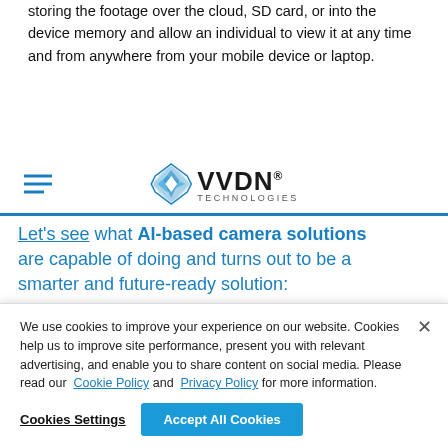storing the footage over the cloud, SD card, or into the device memory and allow an individual to view it at any time and from anywhere from your mobile device or laptop.
[Figure (logo): VVDN Technologies logo with blue diamond/star shape and hamburger menu icon]
Let's see what AI-based camera solutions are capable of doing and turns out to be a smarter and future-ready solution:
1. AI-based Video Conferencing Camera: An AI-based
We use cookies to improve your experience on our website. Cookies help us to improve site performance, present you with relevant advertising, and enable you to share content on social media. Please read our Cookie Policy and Privacy Policy for more information.